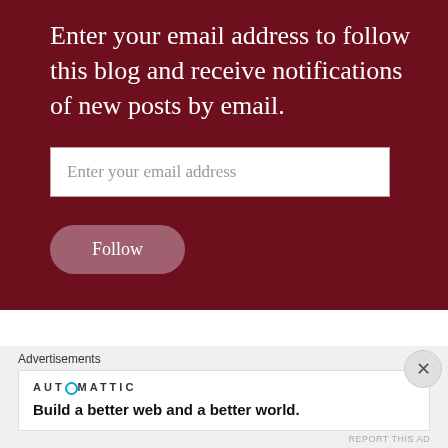Enter your email address to follow this blog and receive notifications of new posts by email.
Enter your email address
Follow
Advertisements
[Figure (logo): Automattic logo with circular O glyph]
Build a better web and a better world.
REPORT THIS AD